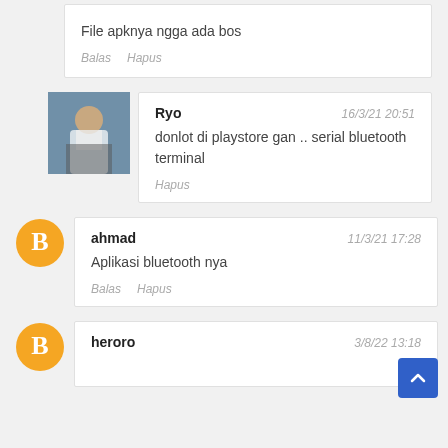File apknya ngga ada bos
Balas  Hapus
Ryo  16/3/21 20:51
donlot di playstore gan .. serial bluetooth terminal
Hapus
ahmad  11/3/21 17:28
Aplikasi bluetooth nya
Balas  Hapus
heroro  3/8/22 13:18